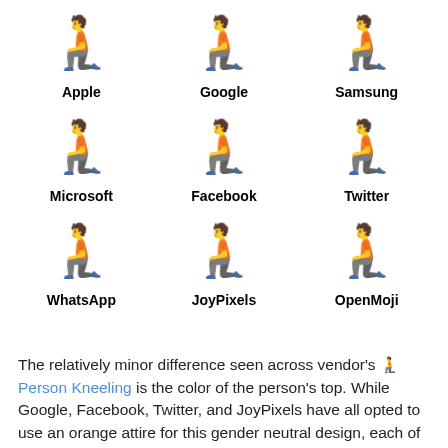[Figure (illustration): Grid of 6 emoji variants of 'Person Kneeling' from different vendors: Apple, Google, Samsung (top row), Microsoft, Facebook, Twitter (middle row), WhatsApp, JoyPixels, OpenMoji (bottom row)]
The relatively minor difference seen across vendor's 🧎 Person Kneeling is the color of the person's top. While Google, Facebook, Twitter, and JoyPixels have all opted to use an orange attire for this gender neutral design, each of